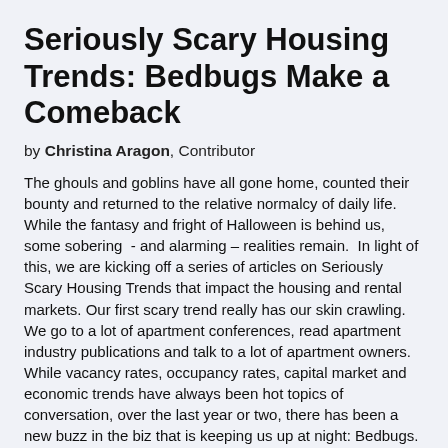Seriously Scary Housing Trends: Bedbugs Make a Comeback
by Christina Aragon, Contributor
The ghouls and goblins have all gone home, counted their bounty and returned to the relative normalcy of daily life. While the fantasy and fright of Halloween is behind us, some sobering  - and alarming – realities remain.  In light of this, we are kicking off a series of articles on Seriously Scary Housing Trends that impact the housing and rental markets. Our first scary trend really has our skin crawling. We go to a lot of apartment conferences, read apartment industry publications and talk to a lot of apartment owners. While vacancy rates, occupancy rates, capital market and economic trends have always been hot topics of conversation, over the last year or two, there has been a new buzz in the biz that is keeping us up at night: Bedbugs. More and more we see the topic of bedbugs popping up on conference agendas, and the National Apartment